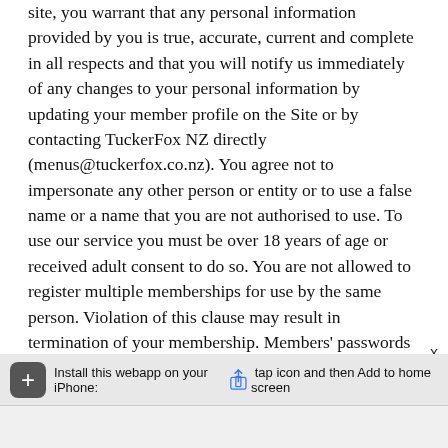site, you warrant that any personal information provided by you is true, accurate, current and complete in all respects and that you will notify us immediately of any changes to your personal information by updating your member profile on the Site or by contacting TuckerFox NZ directly (menus@tuckerfox.co.nz). You agree not to impersonate any other person or entity or to use a false name or a name that you are not authorised to use. To use our service you must be over 18 years of age or received adult consent to do so. You are not allowed to register multiple memberships for use by the same person. Violation of this clause may result in termination of your membership. Members' passwords should be kept confidential at all times, and must not be shared or disclosed to anyone. You are responsible for all activities and orders that occur or are submitted through your membership. If you know or suspect that someone has knowledge of your password then you should contact us
Install this webapp on your iPhone: tap icon and then Add to home screen